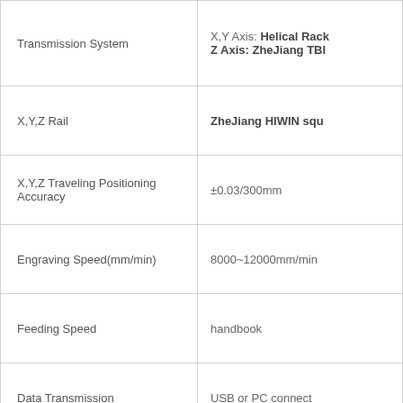| Parameter | Value |
| --- | --- |
| Transmission System | X,Y Axis: Helical Rack
Z Axis: ZheJiang TBI |
| X,Y,Z Rail | ZheJiang HIWIN squ |
| X,Y,Z Traveling Positioning Accuracy | ±0.03/300mm |
| Engraving Speed(mm/min) | 8000~12000mm/min |
| Feeding Speed | handbook |
| Data Transmission | USB or PC connect |
| Support Format | G code or HPGL |
| Working Voltage | AC220V/50Hz or 380V |